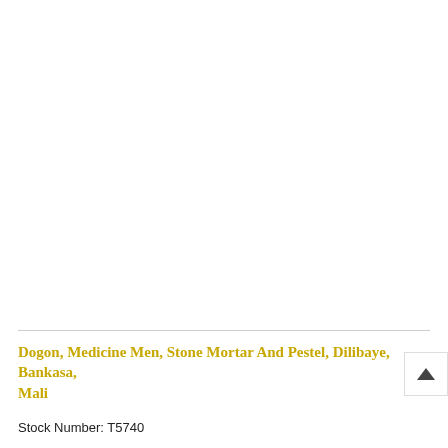[Figure (photo): White/blank image area representing a photo of Dogon medicine men with stone mortar and pestel in Dilibaye, Bankasa, Mali]
Dogon, Medicine Men, Stone Mortar And Pestel, Dilibaye, Bankasa, Mali
Stock Number: T5740